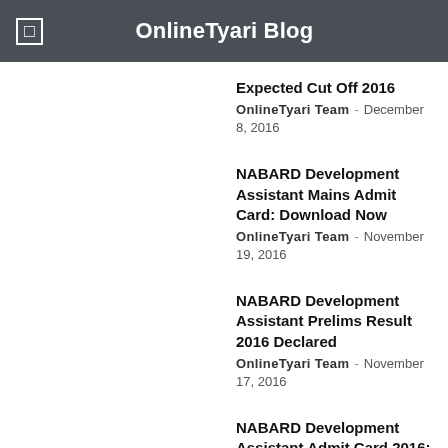OnlineTyari Blog
Expected Cut Off 2016
OnlineTyari Team - December 8, 2016
NABARD Development Assistant Mains Admit Card: Download Now
OnlineTyari Team - November 19, 2016
NABARD Development Assistant Prelims Result 2016 Declared
OnlineTyari Team - November 17, 2016
NABARD Development Assistant Admit Card 2016: Check here
OnlineTyari Team - October 26, 2016
NABARD Development Assistant Job Profile, Pay Scale, Career Prospects
OnlineTyari Team - September 8, 2016